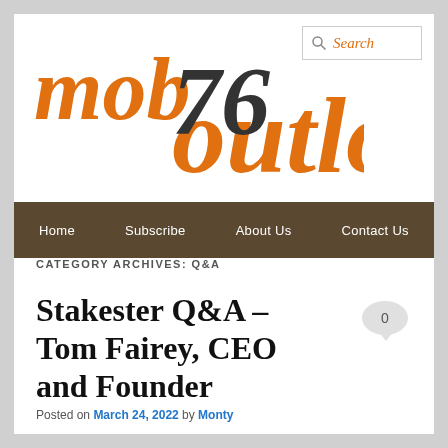[Figure (logo): mob76outlook logo in orange italic serif font with large '76' numeral in dark, and a Search box in top right corner]
Home  Subscribe  About Us  Contact Us
CATEGORY ARCHIVES: Q&A
Stakeholder Q&A – Tom Fairey, CEO and Founder
Posted on March 24, 2022 by Monty